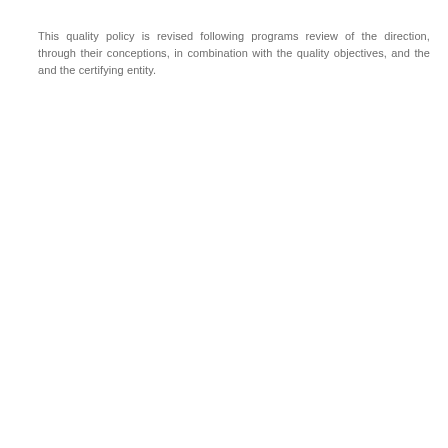This quality policy is revised following programs review of the direction, through their conceptions, in combination with the quality objectives, and the and the certifying entity.